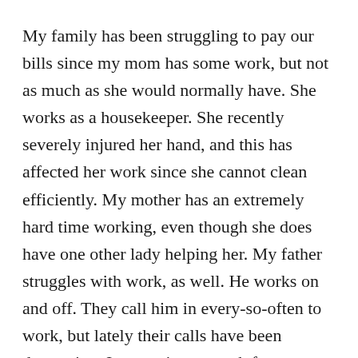My family has been struggling to pay our bills since my mom has some work, but not as much as she would normally have. She works as a housekeeper. She recently severely injured her hand, and this has affected her work since she cannot clean efficiently. My mother has an extremely hard time working, even though she does have one other lady helping her. My father struggles with work, as well. He works on and off. They call him in every-so-often to work, but lately their calls have been decreasing. I was going to work for my university for our orientation season, but everything got pushed online. Now I only work about one to two hours a week or every other week. I wish I could help my family more. Overall I am just hoping and praying for everything to calm down. I miss